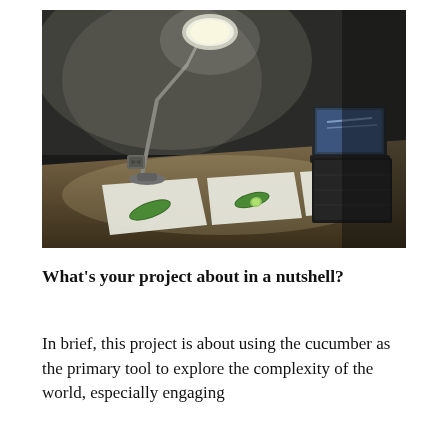[Figure (photo): A dark room with a desk. Three white sheets of paper are laid out on the desk, each with a cucumber (whole, halved, and small piece) on them, illuminated by a desk lamp. A laptop and a black cube/box are visible in the background.]
What's your project about in a nutshell?
In brief, this project is about using the cucumber as the primary tool to explore the complexity of the world, especially engaging